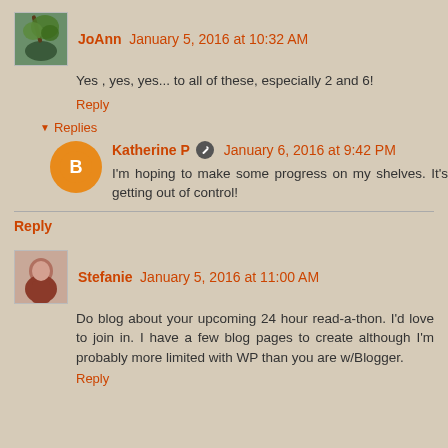JoAnn January 5, 2016 at 10:32 AM
Yes , yes, yes... to all of these, especially 2 and 6!
Reply
Replies
Katherine P January 6, 2016 at 9:42 PM
I'm hoping to make some progress on my shelves. It's getting out of control!
Reply
Stefanie January 5, 2016 at 11:00 AM
Do blog about your upcoming 24 hour read-a-thon. I'd love to join in. I have a few blog pages to create although I'm probably more limited with WP than you are w/Blogger.
Reply